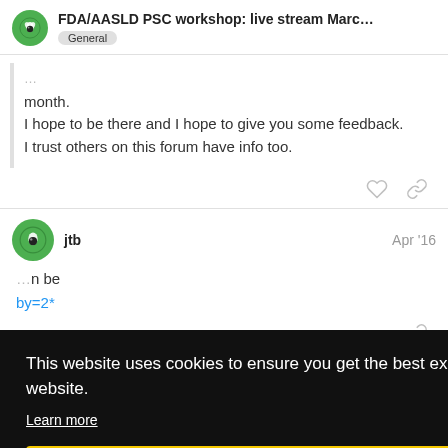FDA/AASLD PSC workshop: live stream Marc... General
month.
I hope to be there and I hope to give you some feedback.
I trust others on this forum have info too.
jtb  Apr '16
This website uses cookies to ensure you get the best experience on our website. Learn more
Got it!